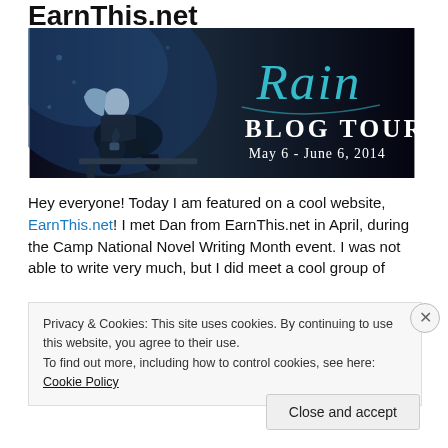EarnThis.net
[Figure (photo): Rain Blog Tour banner image. A woman sitting on a bench in blue-toned photography on the left. On the right, decorative script text 'Rain' in teal/cyan color, below it 'BLOG TOUR' in large white serif text, and 'May 6 - June 6, 2014' in white text. Black background.]
Hey everyone! Today I am featured on a cool website, EarnThis.net! I met Dan from EarnThis.net in April, during the Camp National Novel Writing Month event. I was not able to write very much, but I did meet a cool group of
Privacy & Cookies: This site uses cookies. By continuing to use this website, you agree to their use.
To find out more, including how to control cookies, see here: Cookie Policy
Close and accept